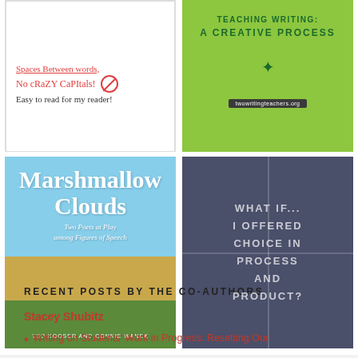[Figure (photo): Handwritten classroom rules on paper: 'Spaces between words,' 'No cRaZY CaPItals!' with a no sign, 'Easy to read for my reader!']
[Figure (photo): Green book cover with text 'Teaching Writing: A Creative Process' with sparkle and website bar]
[Figure (photo): Book cover for 'Marshmallow Clouds: Two Poets at Play among Figures of Speech' by Ted Kooser and Connie Wanek, with sky and field illustration]
[Figure (photo): Dark blue-grey panel with text 'WHAT IF... I OFFERED CHOICE IN PROCESS AND PRODUCT?' with grid lines dividing the panel into four quadrants]
RECENT POSTS BY THE CO-AUTHORS
Stacey Shubitz
Writing on Students' Work in Progress: Resetting Our